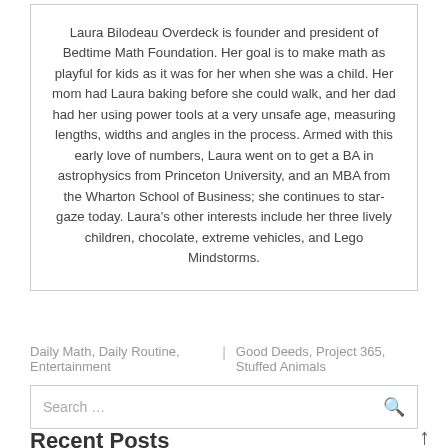Laura Bilodeau Overdeck is founder and president of Bedtime Math Foundation. Her goal is to make math as playful for kids as it was for her when she was a child. Her mom had Laura baking before she could walk, and her dad had her using power tools at a very unsafe age, measuring lengths, widths and angles in the process. Armed with this early love of numbers, Laura went on to get a BA in astrophysics from Princeton University, and an MBA from the Wharton School of Business; she continues to star-gaze today. Laura's other interests include her three lively children, chocolate, extreme vehicles, and Lego Mindstorms.
Daily Math, Daily Routine, Entertainment | Good Deeds, Project 365, Stuffed Animals
Search …
Recent Posts